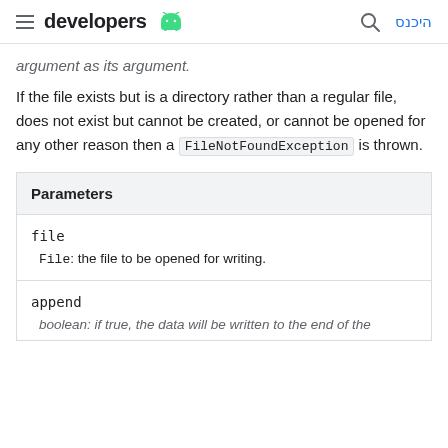developers [android logo] | היכנס
argument as its argument.
If the file exists but is a directory rather than a regular file, does not exist but cannot be created, or cannot be opened for any other reason then a FileNotFoundException is thrown.
| Parameters |
| --- |
| file | File: the file to be opened for writing. |
| append | boolean: if true, the data will be written to the end of the |
boolean: if true, the data will be written to the end of the